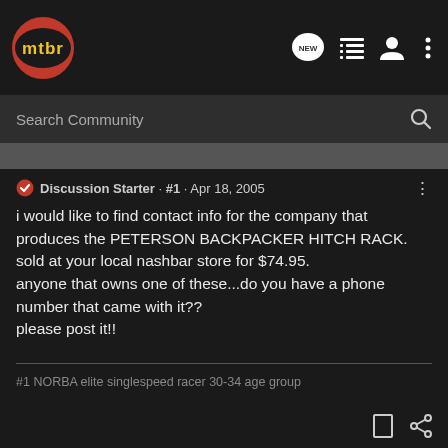mtbr
Search Community
Discussion Starter · #1 · Apr 18, 2005
i would like to find contact info for the company that produces the PETERSON BACKPACKER HITCH RACK. sold at your local nashbar store for $74.95.
anyone that owns one of these...do you have a phone number that came with it??
please post it!!
#1 NORBA elite singlespeed racer 30-34 age group